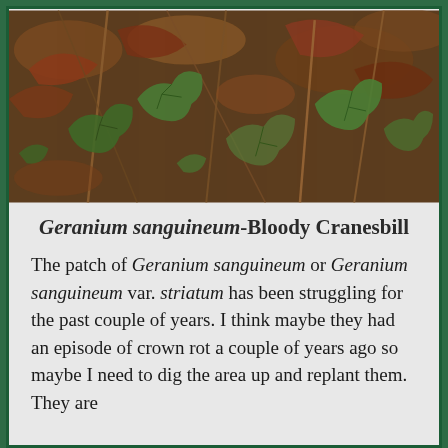[Figure (photo): Close-up photograph of Geranium sanguineum plant showing struggling growth with brown dead leaves and stems mixed with green lobed leaves on ground level]
Geranium sanguineum-Bloody Cranesbill
The patch of Geranium sanguineum or Geranium sanguineum var. striatum has been struggling for the past couple of years. I think maybe they had an episode of crown rot a couple of years ago so maybe I need to dig the area up and replant them. They are